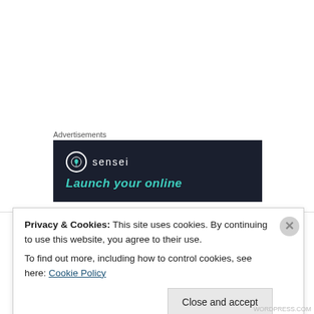Advertisements
[Figure (screenshot): Advertisement banner for Sensei with dark navy background. Shows a circular logo with a tree icon, the brand name 'sensei', and the tagline 'Launch your online' in teal italic text.]
mxyzplk on November 12, 2008 at 10:15 pm
@Dave – I didn't mean to open up a can of
Privacy & Cookies: This site uses cookies. By continuing to use this website, you agree to their use.
To find out more, including how to control cookies, see here: Cookie Policy
Close and accept